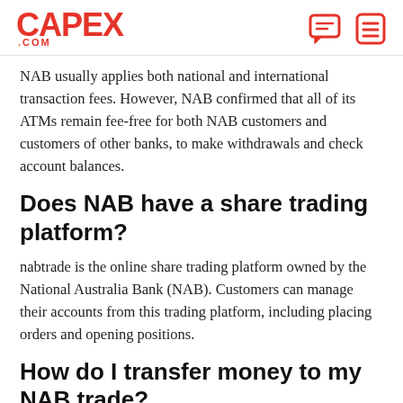CAPEX .COM
NAB usually applies both national and international transaction fees. However, NAB confirmed that all of its ATMs remain fee-free for both NAB customers and customers of other banks, to make withdrawals and check account balances.
Does NAB have a share trading platform?
nabtrade is the online share trading platform owned by the National Australia Bank (NAB). Customers can manage their accounts from this trading platform, including placing orders and opening positions.
How do I transfer money to my NAB trade?
To transfer money out of your nabtrade Cash Account you can go to Cash > Make a funds transfer. This process is similar to any other online trading solution.